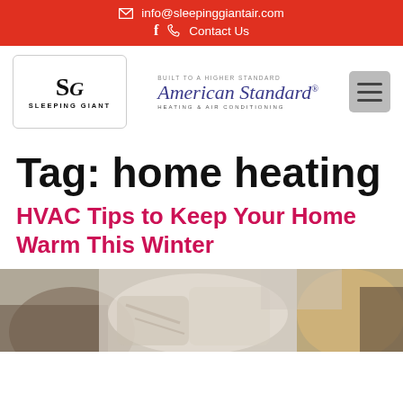info@sleepinggiantair.com  f  Contact Us
[Figure (logo): Sleeping Giant logo with SG monogram and American Standard Heating & Air Conditioning logo side by side, with hamburger menu icon]
Tag: home heating
HVAC Tips to Keep Your Home Warm This Winter
[Figure (photo): Photo of a person with cozy pillows and blankets, warm home interior scene]